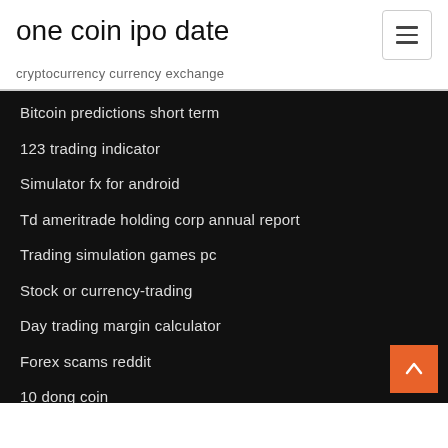one coin ipo date
cryptocurrency currency exchange
Bitcoin predictions short term
123 trading indicator
Simulator fx for android
Td ameritrade holding corp annual report
Trading simulation games pc
Stock or currency-trading
Day trading margin calculator
Forex scams reddit
10 dong coin
Precio del euro en mexico hsbc